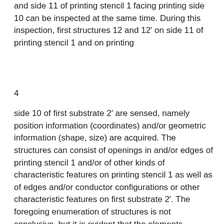and side 11 of printing stencil 1 facing printing side 10 can be inspected at the same time. During this inspection, first structures 12 and 12' on side 11 of printing stencil 1 and on printing
4
side 10 of first substrate 2' are sensed, namely position information (coordinates) and/or geometric information (shape, size) are acquired. The structures can consist of openings in and/or edges of printing stencil 1 and/or of other kinds of characteristic features on printing stencil 1 as well as of edges and/or conductor configurations or other characteristic features on first substrate 2'. The foregoing enumeration of structures is not conclusive, but it is evident that the elements involved must permit unequivocal positioning of a particular element by means of optical sensing device 6. After the optical sensing of the structures of printing stencil 1 and first substrate 2' has taken place according to Figure 2, the positions of these two components are accurately aligned with each other based on the